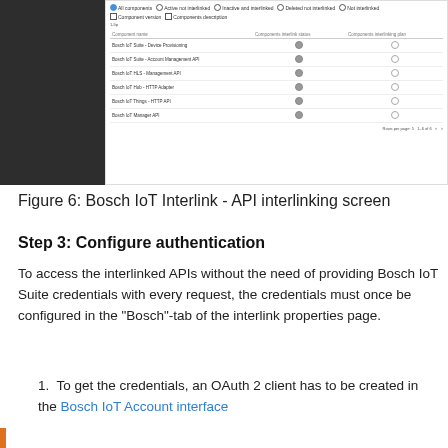[Figure (screenshot): Bosch IoT Interlink API interlinking screen showing a list of components with filter options (All components, Active not interlinked, Inactive and interlinked, Deleted not interlinked, Not interlinked) and checkboxes (Component version, Components description). A table lists: Bosch IoT Suite - Device Provisioning, Bosch IoT Suite - Account Management API, Bosch IoT HLS - Management API, Bosch IoT Hub - HTTP Adapter, Bosch IoT Things - HTTP API, Bosch IoT Manager API. Each row shows a filled circle and an empty circle in the columns. Pagination controls visible at bottom right.]
Figure 6: Bosch IoT Interlink - API interlinking screen
Step 3: Configure authentication
To access the interlinked APIs without the need of providing Bosch IoT Suite credentials with every request, the credentials must once be configured in the “Bosch”-tab of the interlink properties page.
1. To get the credentials, an OAuth 2 client has to be created in the Bosch IoT Account interface